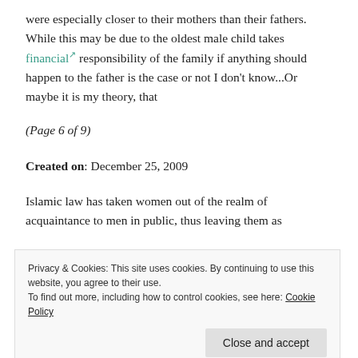were especially closer to their mothers than their fathers. While this may be due to the oldest male child takes financial responsibility of the family if anything should happen to the father is the case or not I don't know...Or maybe it is my theory, that
(Page 6 of 9)
Created on: December 25, 2009
Islamic law has taken women out of the realm of acquaintance to men in public, thus leaving them as
Privacy & Cookies: This site uses cookies. By continuing to use this website, you agree to their use. To find out more, including how to control cookies, see here: Cookie Policy
younger and older girls in Iran, both in a school and